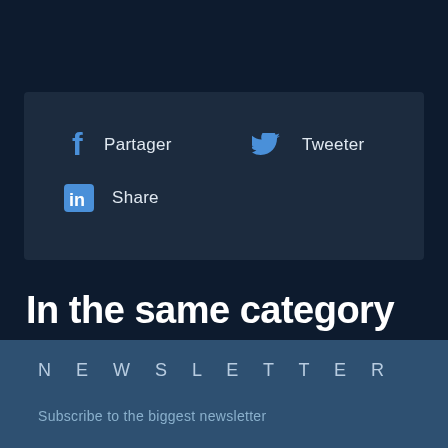[Figure (infographic): Social share box with Facebook (Partager), Twitter (Tweeter), and LinkedIn (Share) icons and labels on a dark navy background]
In the same category
NEWSLETTER
Subscribe to the biggest newsletter